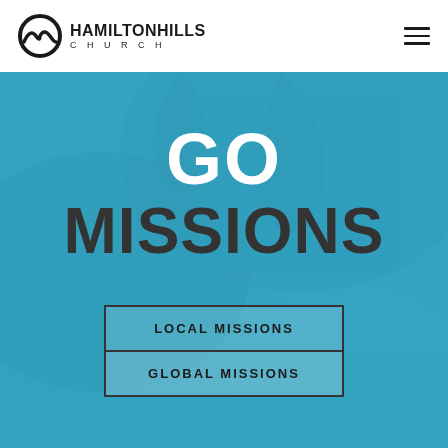HAMILTONHILLS CHURCH
GO
MISSIONS
LOCAL MISSIONS
GLOBAL MISSIONS